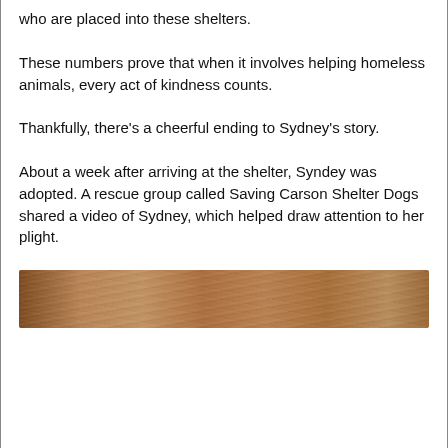who are placed into these shelters.
These numbers prove that when it involves helping homeless animals, every act of kindness counts.
Thankfully, there's a cheerful ending to Sydney's story.
About a week after arriving at the shelter, Syndey was adopted. A rescue group called Saving Carson Shelter Dogs shared a video of Sydney, which helped draw attention to her plight.
[Figure (photo): Close-up photo of a dog's fur, showing brown and tan coloring, cropped horizontally across the width of the page.]